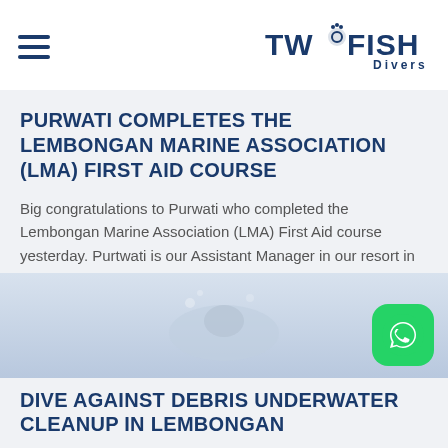Two Fish Divers
PURWATI COMPLETES THE LEMBONGAN MARINE ASSOCIATION (LMA) FIRST AID COURSE
Big congratulations to Purwati who completed the Lembongan Marine Association (LMA) First Aid course yesterday. Purtwati is our Assistant Manager in our resort in Lembongan, and she answers many of the reservation emails from guests who want to stay/dive with us in Lembongan.
[Figure (photo): Underwater photo, faint background with figure in water]
DIVE AGAINST DEBRIS UNDERWATER CLEANUP IN LEMBONGAN